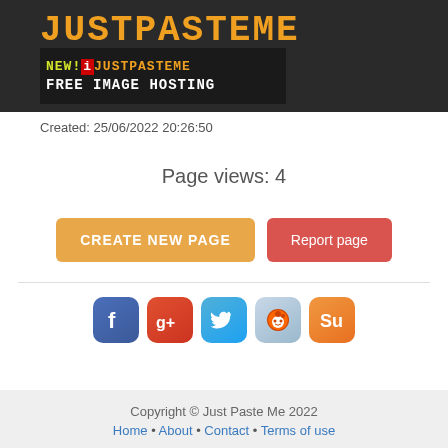[Figure (logo): JustPasteMe logo in orange blocky font on dark background, with a banner ad below saying NEW! iJustPasteMe FREE IMAGE HOSTING]
Created: 25/06/2022 20:26:50
Page views: 4
CREATE NEW PAGE
Report page
[Figure (illustration): Social sharing icons: Facebook, Google+, Twitter, Reddit, StumbleUpon]
Copyright © Just Paste Me 2022
Home • About • Contact • Terms of use